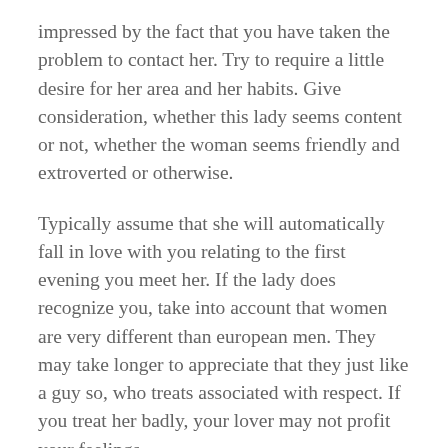impressed by the fact that you have taken the problem to contact her. Try to require a little desire for her area and her habits. Give consideration, whether this lady seems content or not, whether the woman seems friendly and extroverted or otherwise.
Typically assume that she will automatically fall in love with you relating to the first evening you meet her. If the lady does recognize you, take into account that women are very different than european men. They may take longer to appreciate that they just like a guy so, who treats associated with respect. If you treat her badly, your lover may not profit your feelings.
In order to know for certain is to meet personally.